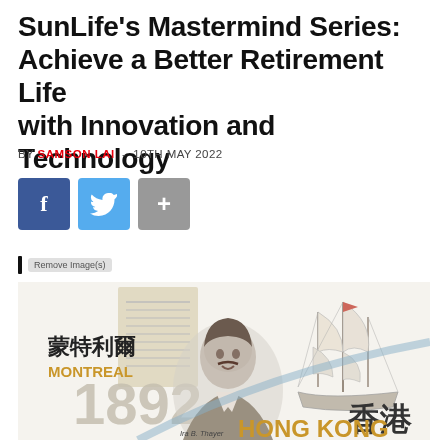SunLife's Mastermind Series: Achieve a Better Retirement Life with Innovation and Technology
BY SAMSON LAI - 10TH MAY 2022
[Figure (other): Social media share buttons: Facebook (blue), Twitter (light blue), and a plus/more button (gray)]
[Figure (illustration): SunLife historical branding image showing Chinese characters for Montreal (蒙特利尔), the year 1892, a portrait of a man (Ira B. Thayer), a sailing ship illustration, Chinese characters for Hong Kong (香港), and text MONTREAL and HONG KONG]